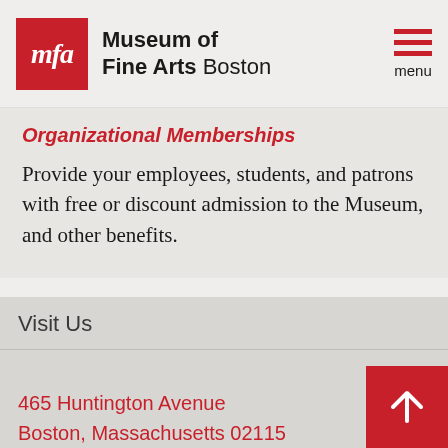[Figure (logo): Museum of Fine Arts Boston logo with red MFA box and text]
Organizational Memberships
Provide your employees, students, and patrons with free or discount admission to the Museum, and other benefits.
Visit Us
465 Huntington Avenue
Boston, Massachusetts 02115